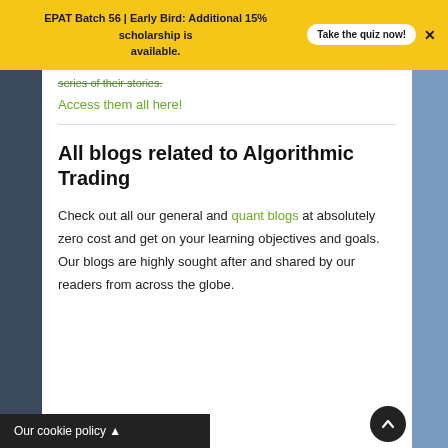EPAT Batch 56 | Early Bird: Additional 15% scholarship is available.  Take the quiz now!
series of their stories.
Access them all here!
All blogs related to Algorithmic Trading
Check out all our general and quant blogs at absolutely zero cost and get on your learning objectives and goals. Our blogs are highly sought after and shared by our readers from across the globe.
Our cookie policy ▲